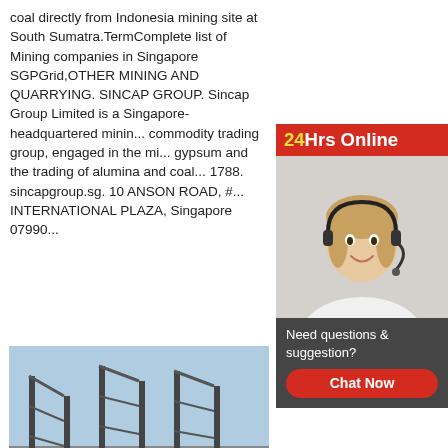coal directly from Indonesia mining site at South Sumatra.TermComplete list of Mining companies in Singapore SGPGrid,OTHER MINING AND QUARRYING. SINCAP GROUP. Sincap Group Limited is a Singapore-headquartered mining commodity trading group, engaged in the mi... gypsum and the trading of alumina and coal... 1788. sincapgroup.sg. 10 ANSON ROAD, #... INTERNATIONAL PLAZA, Singapore 07990...
[Figure (screenshot): 24Hrs Online badge with red background and yellow/white text, overlaid on an agent photo of a smiling woman wearing a headset]
[Figure (photo): Mining site photo showing heavy industrial equipment, conveyor belts and steel frame structures at an open-pit or processing facility. Email address lmzgvip@gmail.com is overlaid at the bottom.]
[Figure (screenshot): Chat widget with dark grey background reading 'Need questions & suggestion?' and a red 'Chat Now' button]
List of Coal Companies in Singapore Page 2
Address：choa chu kang ave 4, Singapore, Singapore Business type：Trading Company. Mydirectore Co.